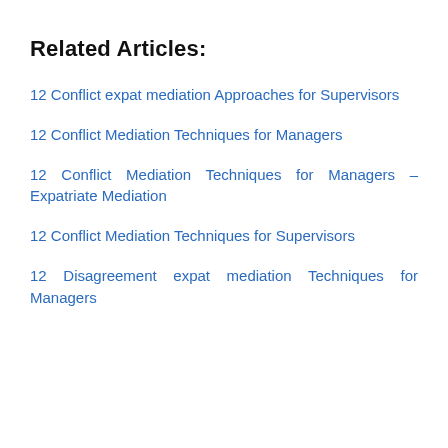Related Articles:
12 Conflict expat mediation Approaches for Supervisors
12 Conflict Mediation Techniques for Managers
12 Conflict Mediation Techniques for Managers – Expatriate Mediation
12 Conflict Mediation Techniques for Supervisors
12 Disagreement expat mediation Techniques for Managers